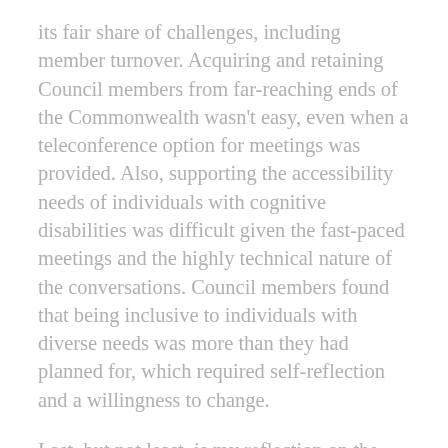its fair share of challenges, including member turnover. Acquiring and retaining Council members from far-reaching ends of the Commonwealth wasn't easy, even when a teleconference option for meetings was provided. Also, supporting the accessibility needs of individuals with cognitive disabilities was difficult given the fast-paced meetings and the highly technical nature of the conversations. Council members found that being inclusive to individuals with diverse needs was more than they had planned for, which required self-reflection and a willingness to change.
Last, but not least, is my reflection on the Council's 'impact.' Many people want to understand the impact of stakeholder engagement. People will ask, "Was it worth it?" and, "Did it actually lead to anything?" Impact, when it comes to stakeholder engagement, is a complex concept with what appears to be more of a curvy line to outcomes